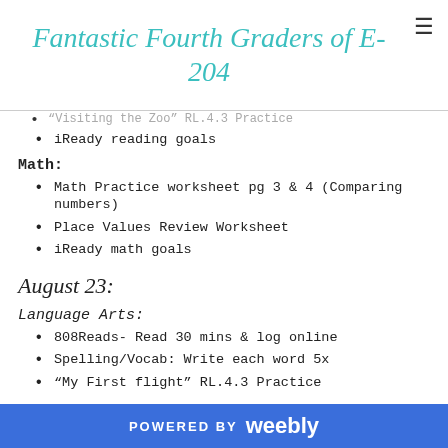Fantastic Fourth Graders of E-204
iReady reading goals
Math:
Math Practice worksheet pg 3 & 4 (Comparing numbers)
Place Values Review Worksheet
iReady math goals
August 23:
Language Arts:
808Reads- Read 30 mins & log online
Spelling/Vocab: Write each word 5x
"My First flight" RL.4.3 Practice
POWERED BY weebly